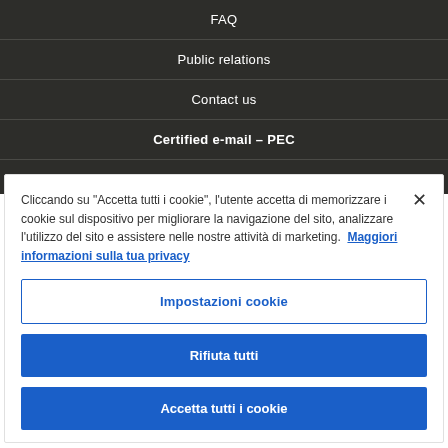FAQ
Public relations
Contact us
Certified e-mail – PEC
Cliccando su "Accetta tutti i cookie", l'utente accetta di memorizzare i cookie sul dispositivo per migliorare la navigazione del sito, analizzare l'utilizzo del sito e assistere nelle nostre attività di marketing. Maggiori informazioni sulla tua privacy
Impostazioni cookie
Rifiuta tutti
Accetta tutti i cookie